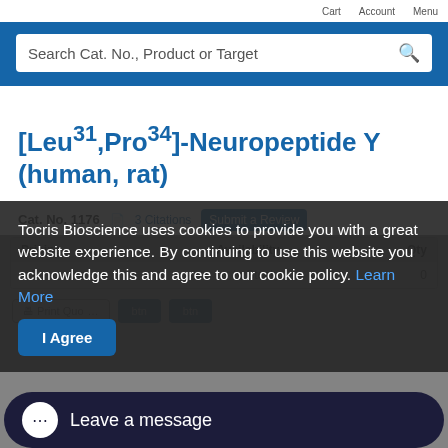Search Cat. No., Product or Target
[Leu31,Pro34]-Neuropeptide Y (human, rat)
Cat. No. 1176  3 Citations  Submit a Review
| Pricing | Availability | Qty |
| --- | --- | --- |
|  | In Stock | 0 |
Tocris Bioscience uses cookies to provide you with a great website experience. By continuing to use this website you acknowledge this and agree to our cookie policy. Learn More
I Agree
Leave a message